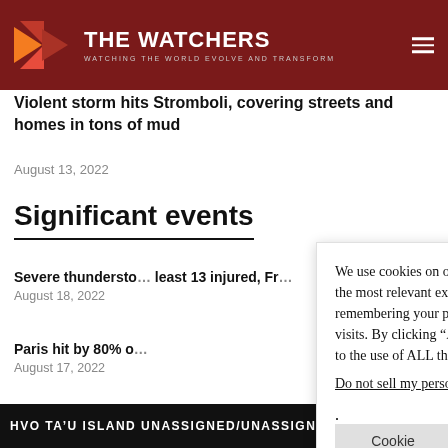THE WATCHERS — WATCHING THE WORLD EVOLVE AND TRANSFORM
Violent storm hits Stromboli, covering streets and homes in tons of mud
August 13, 2022
Significant events
Severe thundersto... least 13 injured, Fr... August 18, 2022
Paris hit by 80% o... August 17, 2022
We use cookies on our website to give you the most relevant experience by remembering your preferences and repeat visits. By clicking “Accept”, you consent to the use of ALL the cookies.
Do not sell my personal information.
Cookie settings | Accept
HVO TA'U ISLAND UNASSIGNED/UNASSIGNED – EAR...